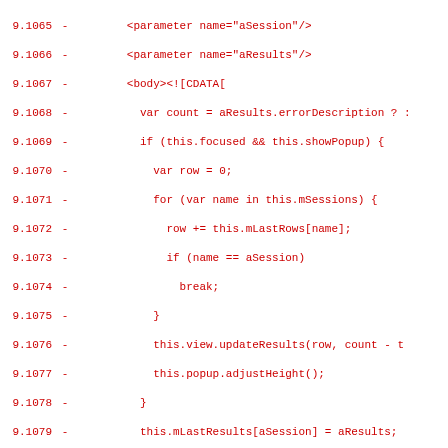[Figure (screenshot): Source code diff view showing XML/JavaScript code lines 9.1065–9.1097 with red text on white background, each line prefixed with line number and dash indicator]